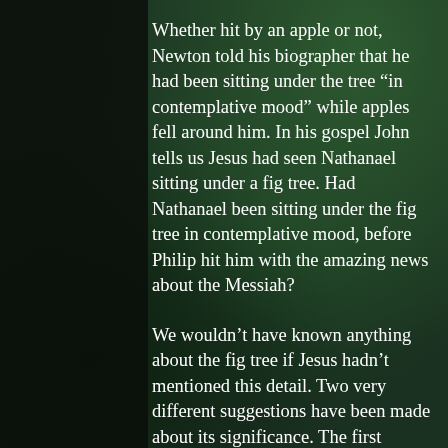Whether hit by an apple or not, Newton told his biographer that he had been sitting under the tree “in contemplative mood” while apples fell around him. In his gospel John tells us Jesus had seen Nathanael sitting under a fig tree. Had Nathanael been sitting under the fig tree in contemplative mood, before Philip hit him with the amazing news about the Messiah?
We wouldn’t have known anything about the fig tree if Jesus hadn’t mentioned this detail. Two very different suggestions have been made about its significance. The first